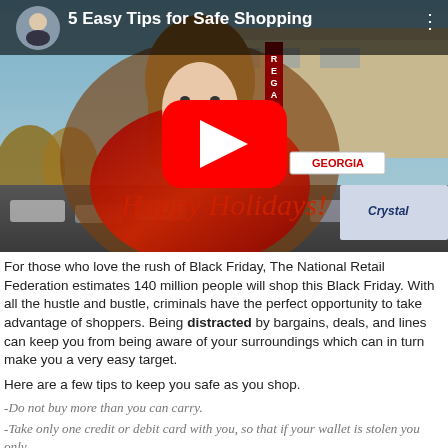[Figure (screenshot): YouTube video thumbnail titled '5 Easy Tips for Safe Shopping'. Shows a woman with red jacket in front of a mall (Regal theater, Georgia sign). A large red YouTube play button is in the center. 'Happy Holidays' text appears in red italic script at the bottom. Top bar shows a male avatar and the video title.]
For those who love the rush of Black Friday, The National Retail Federation estimates 140 million people will shop this Black Friday. With all the hustle and bustle, criminals have the perfect opportunity to take advantage of shoppers. Being distracted by bargains, deals, and lines can keep you from being aware of your surroundings which can in turn make you a very easy target.
Here are a few tips to keep you safe as you shop.
-Do not buy more than you can carry.
-Take only one credit or debit card with you, so that if your wallet is stolen you only